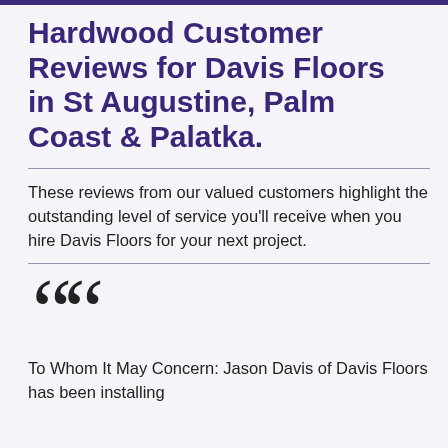Hardwood Customer Reviews for Davis Floors in St Augustine, Palm Coast & Palatka.
These reviews from our valued customers highlight the outstanding level of service you'll receive when you hire Davis Floors for your next project.
To Whom It May Concern: Jason Davis of Davis Floors has been installing